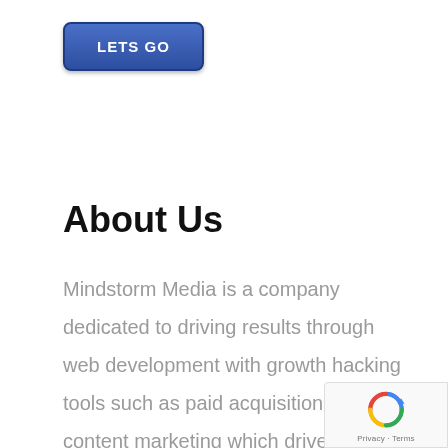[Figure (other): Blue rounded button with white bold text reading 'LETS GO']
About Us
Mindstorm Media is a company dedicated to driving results through web development with growth hacking tools such as paid acquisition and content marketing which drive better customers and better leads straight to the business.
[Figure (other): Google reCAPTCHA badge with logo and Privacy · Terms text]